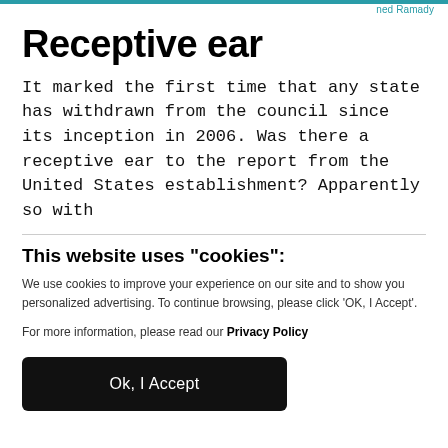ned Ramady
Receptive ear
It marked the first time that any state has withdrawn from the council since its inception in 2006. Was there a receptive ear to the report from the United States establishment? Apparently so with
This website uses "cookies":
We use cookies to improve your experience on our site and to show you personalized advertising. To continue browsing, please click ‘OK, I Accept’.
For more information, please read our Privacy Policy
Ok, I Accept